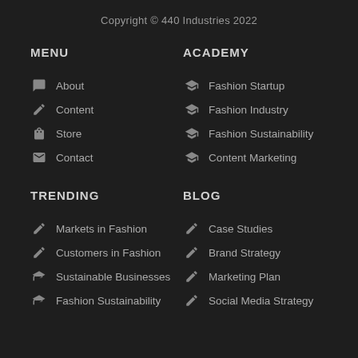Copyright © 440 Industries 2022
MENU
About
Content
Store
Contact
ACADEMY
Fashion Startup
Fashion Industry
Fashion Sustainability
Content Marketing
TRENDING
Markets in Fashion
Customers in Fashion
Sustainable Businesses
Fashion Sustainability
BLOG
Case Studies
Brand Strategy
Marketing Plan
Social Media Strategy